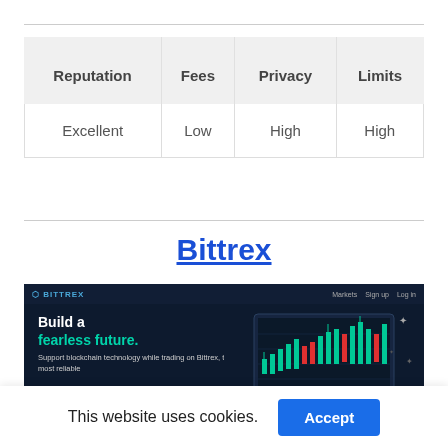| Reputation | Fees | Privacy | Limits |
| --- | --- | --- | --- |
| Excellent | Low | High | High |
Bittrex
[Figure (screenshot): Bittrex website screenshot showing dark-themed homepage with navigation bar, 'Build a fearless future.' hero text in white and teal, subtitle about supporting blockchain technology, and a candlestick chart on the right side.]
This website uses cookies.